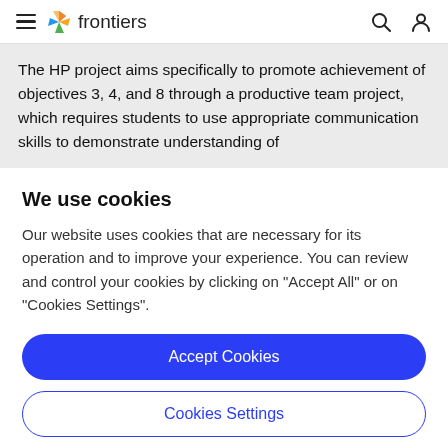≡ frontiers 🔍 👤
The HP project aims specifically to promote achievement of objectives 3, 4, and 8 through a productive team project, which requires students to use appropriate communication skills to demonstrate understanding of
We use cookies
Our website uses cookies that are necessary for its operation and to improve your experience. You can review and control your cookies by clicking on "Accept All" or on "Cookies Settings".
Accept Cookies
Cookies Settings